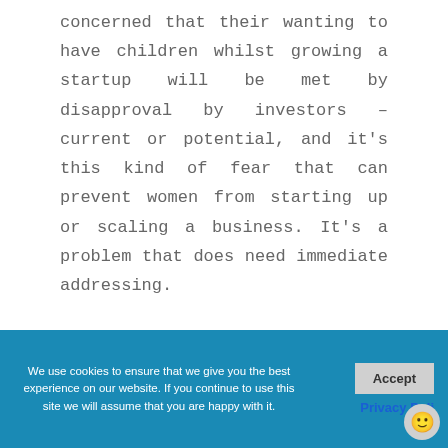concerned that their wanting to have children whilst growing a startup will be met by disapproval by investors – current or potential, and it's this kind of fear that can prevent women from starting up or scaling a business. It's a problem that does need immediate addressing.
[Figure (photo): Black rectangular image block, partially visible]
We use cookies to ensure that we give you the best experience on our website. If you continue to use this site we will assume that you are happy with it.